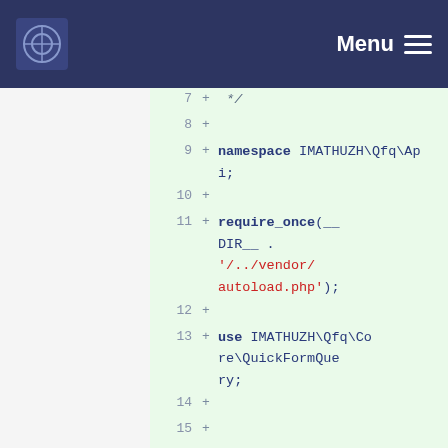Menu
[Figure (screenshot): Code diff view showing PHP code lines 7-17. Lines show namespace IMATHUZH\Qfq\Api, require_once(__DIR__ . '/../../vendor/autoload.php'), use IMATHUZH\Qfq\Core\QuickFormQuery, and start of /** comment block.]